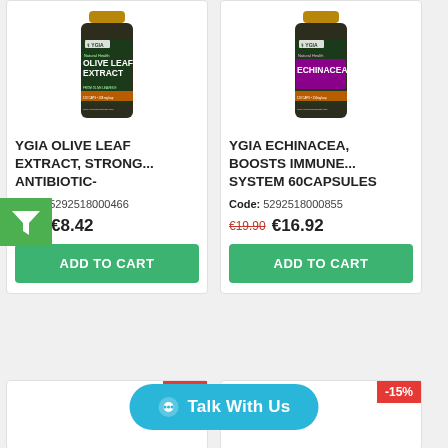[Figure (photo): Bottle of YGIA Olive Leaf Extract supplement]
YGIA OLIVE LEAF EXTRACT, STRONG... ANTIBIOTIC-
Code: 5292518000466
€9.90  €8.42
ADD TO CART
[Figure (photo): Bottle of YGIA Echinacea supplement]
YGIA ECHINACEA, BOOSTS IMMUNE... SYSTEM 60CAPSULES
Code: 5292518000855
€19.90  €16.92
ADD TO CART
-15%
-15%
Talk With Us